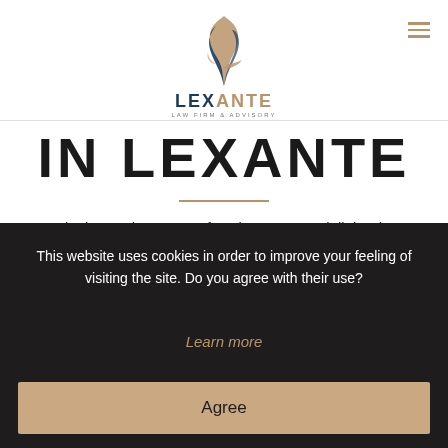[Figure (logo): Lex Ante Law Firm & Advisory logo with stylized bird and text]
IN LEXANTE
Join the modern team of society. We are delighted to welcome skilled, assistants, talented students and qualified lawyers with a desire to grow with us.
OPEN POSITIONS
This website uses cookies in order to improve your feeling of visiting the site. Do you agree with their use?
Learn more
Agree